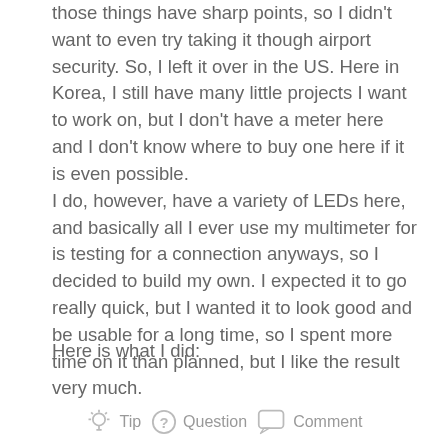those things have sharp points, so I didn't want to even try taking it though airport security. So, I left it over in the US. Here in Korea, I still have many little projects I want to work on, but I don't have a meter here and I don't know where to buy one here if it is even possible. I do, however, have a variety of LEDs here, and basically all I ever use my multimeter for is testing for a connection anyways, so I decided to build my own. I expected it to go really quick, but I wanted it to look good and be usable for a long time, so I spent more time on it than planned, but I like the result very much.
Here is what I did:
Tip   Question   Comment